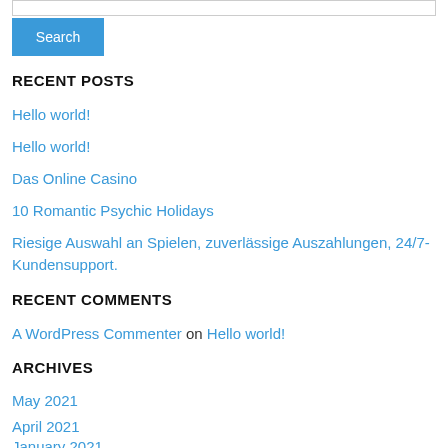[Figure (other): Search input box (top border visible)]
[Figure (other): Blue Search button]
RECENT POSTS
Hello world!
Hello world!
Das Online Casino
10 Romantic Psychic Holidays
Riesige Auswahl an Spielen, zuverlässige Auszahlungen, 24/7-Kundensupport.
RECENT COMMENTS
A WordPress Commenter on Hello world!
ARCHIVES
May 2021
April 2021
January 2021
December 2020